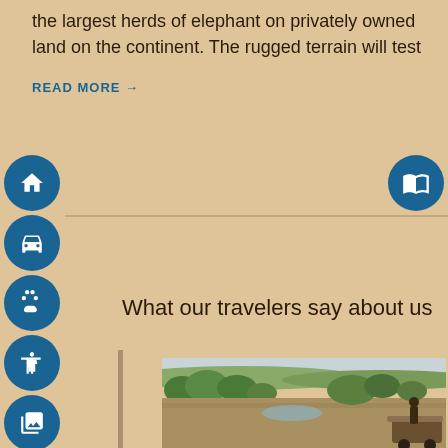the largest herds of elephant on privately owned land on the continent. The rugged terrain will test
READ MORE →
What our travelers say about us
[Figure (photo): Landscape photo showing African savanna terrain with trees and shrubs, a water feature visible, and what appears to be a vehicle/luggage rack in the lower right corner]